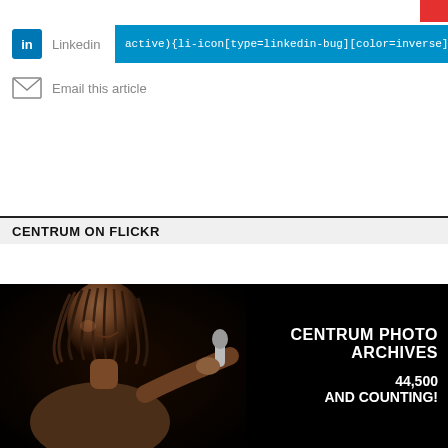Linkedin  active){li-icon[type=linkedin-bug][color=inverse] .background{fill
Email this article
CENTRUM ON FLICKR
[Figure (photo): Centrum Photo Archives promotional image showing a woman singer performing at a microphone against a black background, with white bold text reading 'CENTRUM PHOTO ARCHIVES 44,500 AND COUNTING!']